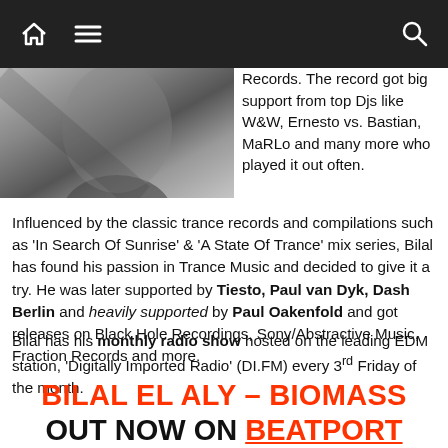Navigation bar with home icon, menu icon, and search icon
[Figure (photo): Black and white close-up portrait photo of a person]
Records. The record got big support from top Djs like W&W, Ernesto vs. Bastian, MaRLo and many more who played it out often.
Influenced by the classic trance records and compilations such as 'In Search Of Sunrise' & 'A State Of Trance' mix series, Bilal has found his passion in Trance Music and decided to give it a try. He was later supported by Tiesto, Paul van Dyk, Dash Berlin and heavily supported by Paul Oakenfold and got releases on Black Hole Recordings, Sony/Abstractive Music, Fraction Records and more.
Bilal has his monthly radio show hosted on the leading EDM station, 'Digitally Imported Radio' (DI.FM) every 3rd Friday of the month.
BILAL EL ALY – BIOMASS OUT NOW ON BEATPORT